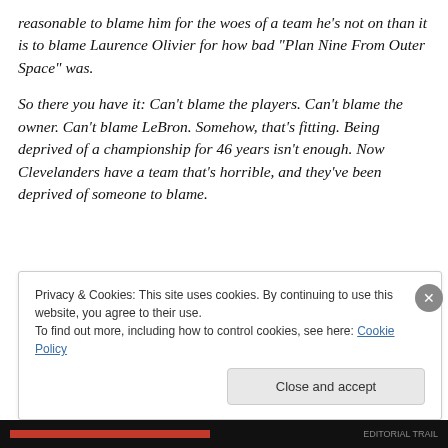reasonable to blame him for the woes of a team he's not on than it is to blame Laurence Olivier for how bad "Plan Nine From Outer Space" was.
So there you have it: Can't blame the players. Can't blame the owner. Can't blame LeBron. Somehow, that's fitting. Being deprived of a championship for 46 years isn't enough. Now Clevelanders have a team that's horrible, and they've been deprived of someone to blame.
Privacy & Cookies: This site uses cookies. By continuing to use this website, you agree to their use.
To find out more, including how to control cookies, see here: Cookie Policy
Close and accept